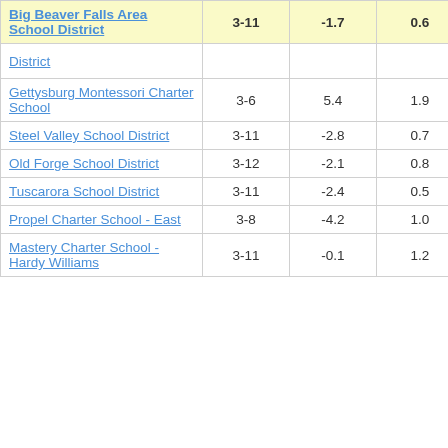| School/District | Grades | Col3 | Col4 | Score |
| --- | --- | --- | --- | --- |
| Big Beaver Falls Area School District | 3-11 | -1.7 | 0.6 | -2.82 |
| District |  |  |  |  |
| Gettysburg Montessori Charter School | 3-6 | 5.4 | 1.9 | 2.75 |
| Steel Valley School District | 3-11 | -2.8 | 0.7 | -3.99 |
| Old Forge School District | 3-12 | -2.1 | 0.8 | -2.75 |
| Tuscarora School District | 3-11 | -2.4 | 0.5 | -5.11 |
| Propel Charter School - East | 3-8 | -4.2 | 1.0 | -4.26 |
| Mastery Charter School - Hardy Williams | 3-11 | -0.1 | 1.2 | -0.05 |